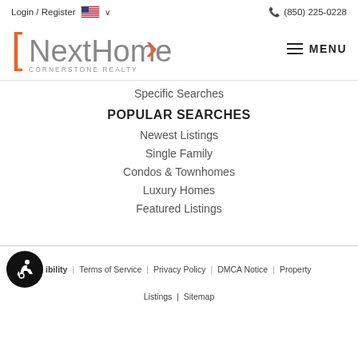Login / Register  (850) 225-0228
[Figure (logo): NextHome Cornerstone Realty logo with orange bracket and arrow, and hamburger MENU button]
Specific Searches
POPULAR SEARCHES
Newest Listings
Single Family
Condos & Townhomes
Luxury Homes
Featured Listings
ibility  |  Terms of Service  |  Privacy Policy  |  DMCA Notice  |  Property Listings  |  Sitemap